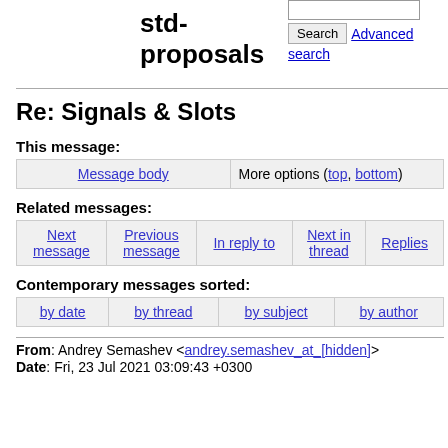std-proposals
Re: Signals & Slots
This message:
| Message body | More options (top, bottom) |
Related messages:
| Next message | Previous message | In reply to | Next in thread | Replies |
Contemporary messages sorted:
| by date | by thread | by subject | by author |
From: Andrey Semashev <andrey.semashev_at_[hidden]>
Date: Fri, 23 Jul 2021 03:09:43 +0300